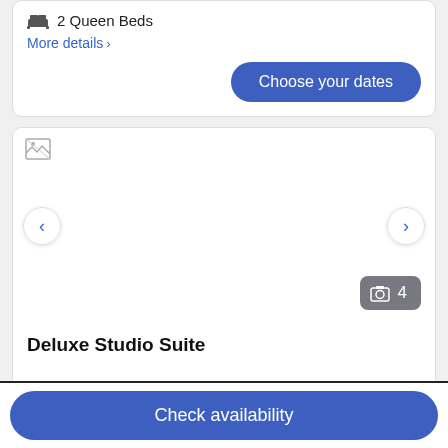2 Queen Beds
More details >
Choose your dates
[Figure (photo): Hotel room image carousel with broken image placeholder, navigation arrows, and photo count badge showing 4]
Deluxe Studio Suite
Check availability